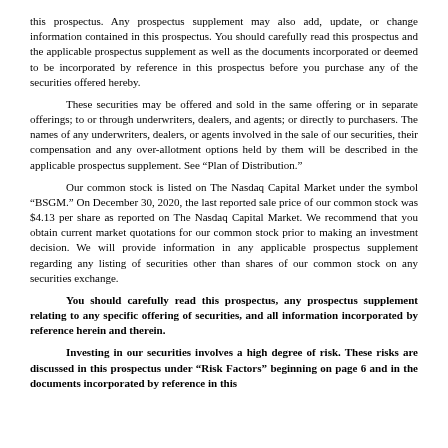this prospectus. Any prospectus supplement may also add, update, or change information contained in this prospectus. You should carefully read this prospectus and the applicable prospectus supplement as well as the documents incorporated or deemed to be incorporated by reference in this prospectus before you purchase any of the securities offered hereby.
These securities may be offered and sold in the same offering or in separate offerings; to or through underwriters, dealers, and agents; or directly to purchasers. The names of any underwriters, dealers, or agents involved in the sale of our securities, their compensation and any over-allotment options held by them will be described in the applicable prospectus supplement. See “Plan of Distribution.”
Our common stock is listed on The Nasdaq Capital Market under the symbol “BSGM.” On December 30, 2020, the last reported sale price of our common stock was $4.13 per share as reported on The Nasdaq Capital Market. We recommend that you obtain current market quotations for our common stock prior to making an investment decision. We will provide information in any applicable prospectus supplement regarding any listing of securities other than shares of our common stock on any securities exchange.
You should carefully read this prospectus, any prospectus supplement relating to any specific offering of securities, and all information incorporated by reference herein and therein.
Investing in our securities involves a high degree of risk. These risks are discussed in this prospectus under “Risk Factors” beginning on page 6 and in the documents incorporated by reference in this